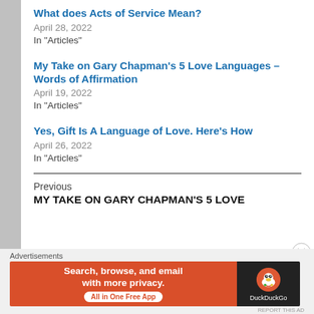What does Acts of Service Mean?
April 28, 2022
In "Articles"
My Take on Gary Chapman's 5 Love Languages – Words of Affirmation
April 19, 2022
In "Articles"
Yes, Gift Is A Language of Love. Here's How
April 26, 2022
In "Articles"
Previous
MY TAKE ON GARY CHAPMAN'S 5 LOVE
Advertisements
[Figure (screenshot): DuckDuckGo advertisement banner: Search, browse, and email with more privacy. All in One Free App.]